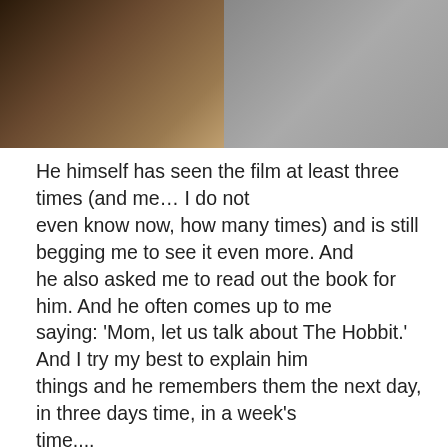[Figure (photo): Photograph showing two people: on the left a person with long wild hair and a beard, on the right a younger clean-shaven person wearing a dark jacket, both cropped at chest level against a dark background.]
He himself has seen the film at least three times (and me… I do not even know now, how many times) and is still begging me to see it even more. And he also asked me to read out the book for him. And he often comes up to me saying: ‘Mom, let us talk about The Hobbit.’ And I try my best to explain him things and he remembers them the next day, in three days time, in a week’s time....
Of course after the film I could not wait to purchase the